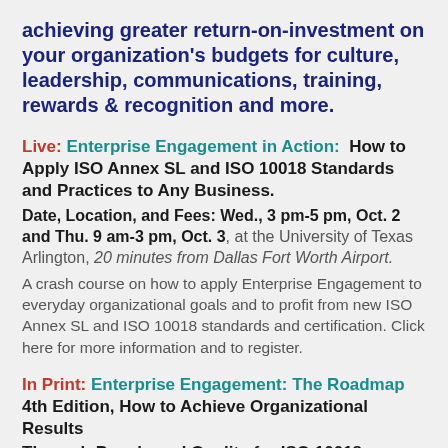achieving greater return-on-investment on your organization's budgets for culture, leadership, communications, training, rewards & recognition and more.
Live: Enterprise Engagement in Action: How to Apply ISO Annex SL and ISO 10018 Standards and Practices to Any Business. Date, Location, and Fees: Wed., 3 pm-5 pm, Oct. 2 and Thu. 9 am-3 pm, Oct. 3, at the University of Texas Arlington, 20 minutes from Dallas Fort Worth Airport. A crash course on how to apply Enterprise Engagement to everyday organizational goals and to profit from new ISO Annex SL and ISO 10018 standards and certification. Click here for more information and to register.
In Print: Enterprise Engagement: The Roadmap 4th Edition, How to Achieve Organizational Results Through People and Quality for ISO 10018